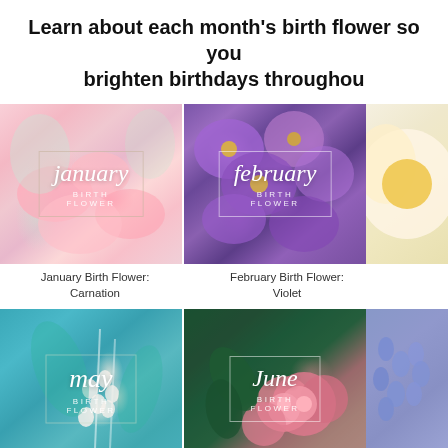Learn about each month's birth flower so you can brighten birthdays throughout the year
[Figure (photo): January birth flower photo showing pink carnations with cursive 'january BIRTH FLOWER' overlay]
January Birth Flower: Carnation
[Figure (photo): February birth flower photo showing purple violets with cursive 'february BIRTH FLOWER' overlay]
February Birth Flower: Violet
[Figure (photo): March birth flower photo partially visible, white/yellow flower]
[Figure (photo): May birth flower photo showing lily of the valley on teal background with cursive 'may BIRTH FLOWER' overlay]
[Figure (photo): June birth flower photo showing pink roses on dark green background with cursive 'June BIRTH FLOWER' overlay]
[Figure (photo): July birth flower photo partially visible, showing blue/purple delphinium flowers]